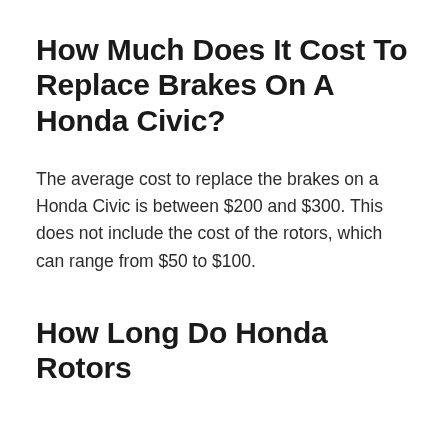How Much Does It Cost To Replace Brakes On A Honda Civic?
The average cost to replace the brakes on a Honda Civic is between $200 and $300. This does not include the cost of the rotors, which can range from $50 to $100.
How Long Do Honda Rotors